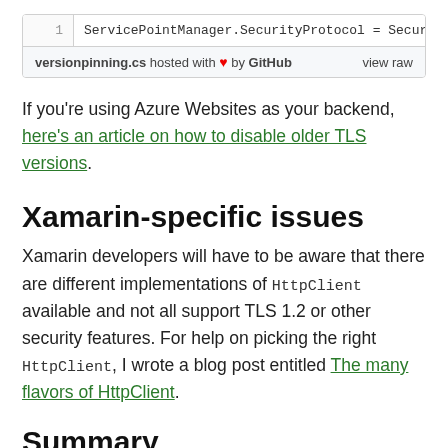[Figure (screenshot): Code block showing: 1  ServicePointManager.SecurityProtocol = SecurityProtoco... with footer: versionpinning.cs hosted with heart by GitHub  view raw]
If you’re using Azure Websites as your backend, here’s an article on how to disable older TLS versions.
Xamarin-specific issues
Xamarin developers will have to be aware that there are different implementations of HttpClient available and not all support TLS 1.2 or other security features. For help on picking the right HttpClient, I wrote a blog post entitled The many flavors of HttpClient.
Summary